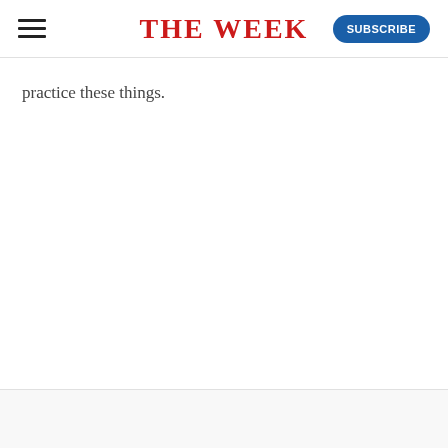THE WEEK | SUBSCRIBE
practice these things.